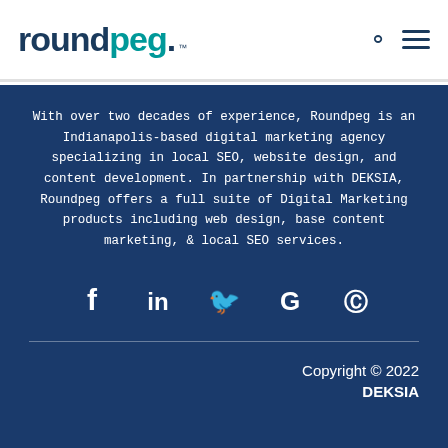roundpeg.
With over two decades of experience, Roundpeg is an Indianapolis-based digital marketing agency specializing in local SEO, website design, and content development. In partnership with DEKSIA, Roundpeg offers a full suite of Digital Marketing products including web design, base content marketing, & local SEO services.
[Figure (other): Social media icons: Facebook (f), LinkedIn (in), Twitter bird, Google (G), Pinterest (P)]
Copyright © 2022 DEKSIA